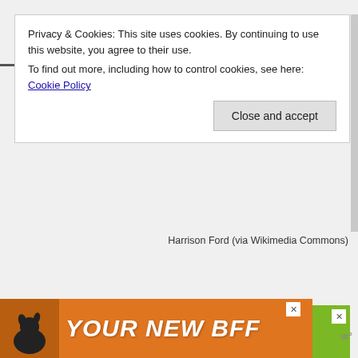Privacy & Cookies: This site uses cookies. By continuing to use this website, you agree to their use. To find out more, including how to control cookies, see here: Cookie Policy
Close and accept
Harrison Ford (via Wikimedia Commons)
[Figure (photo): Green advertisement banner: 'cookies for kids cancer' logo circle on left, text 'your HOBBY is their HOPE' on green background, with close X button]
[Figure (photo): Orange advertisement banner at bottom: dog silhouette on left, bold italic text 'YOUR NEW BFF' in white, with close X button and wordmark on right]